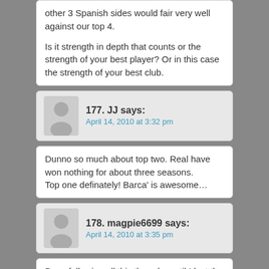other 3 Spanish sides would fair very well against our top 4.

Is it strength in depth that counts or the strength of your best player? Or in this case the strength of your best club.
177. JJ says:
April 14, 2010 at 3:32 pm
Dunno so much about top two. Real have won nothing for about three seasons.
Top one definately! Barca' is awesome…
178. magpie6699 says:
April 14, 2010 at 3:35 pm
Been following all this thread – until I lost the will to live!